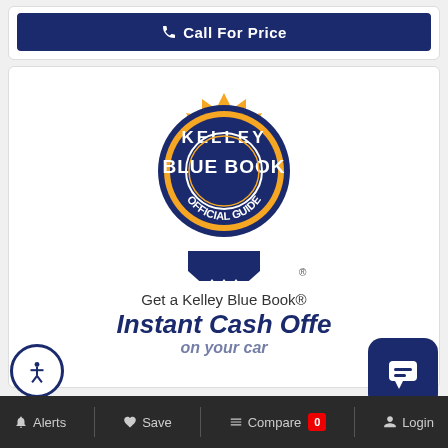Call For Price
[Figure (logo): Kelley Blue Book Official Guide award ribbon/seal logo in gold and navy blue]
Get a Kelley Blue Book®
Instant Cash Offer
on your car
Alerts  Save  Compare 0  Login